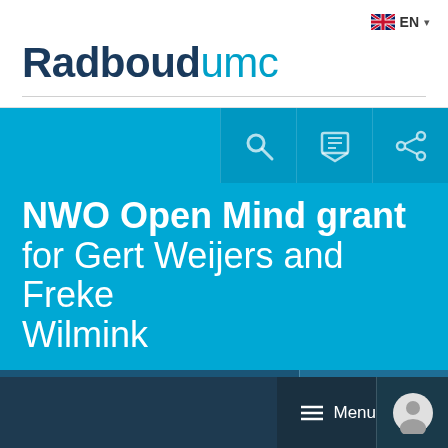EN
[Figure (logo): Radboudumc logo — Radboud in dark navy bold, umc in light blue regular weight]
NWO Open Mind grant for Gert Weijers and Freke Wilmink
Accept
This website uses cookies. Read more about cookies.
Menu